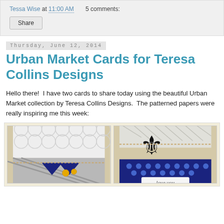Tessa Wise at 11:00 AM   5 comments:
Share
Thursday, June 12, 2014
Urban Market Cards for Teresa Collins Designs
Hello there!  I have two cards to share today using the beautiful Urban Market collection by Teresa Collins Designs.  The patterned papers were really inspiring me this week:
[Figure (photo): Two handmade greeting cards using the Urban Market collection by Teresa Collins Designs. Left card features navy/white diagonal stripe paper with a pennant banner and buttons. Right card features polka dot navy paper with a fleur-de-lis embellishment and 'love you' sentiment.]